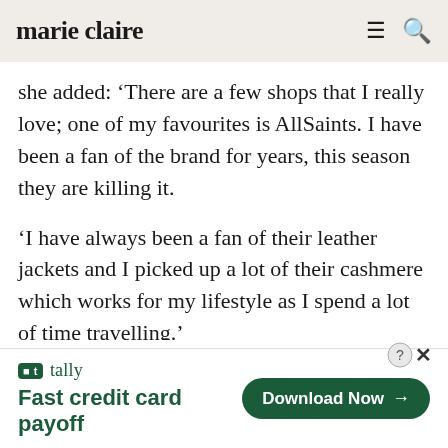marie claire
she added: ‘There are a few shops that I really love; one of my favourites is AllSaints. I have been a fan of the brand for years, this season they are killing it.
‘I have always been a fan of their leather jackets and I picked up a lot of their cashmere which works for my lifestyle as I spend a lot of time travelling.’
[Figure (screenshot): Tally app advertisement banner with text 'Fast credit card payoff' and a green 'Download Now' button with arrow]